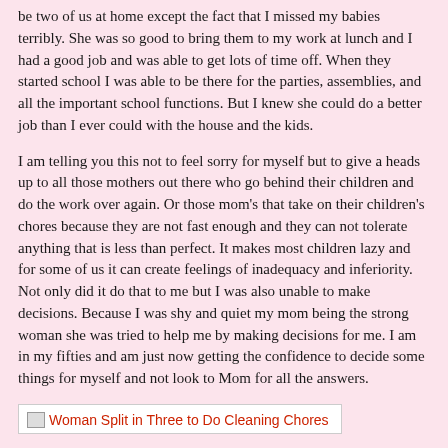be two of us at home except the fact that I missed my babies terribly. She was so good to bring them to my work at lunch and I had a good job and was able to get lots of time off. When they started school I was able to be there for the parties, assemblies, and all the important school functions. But I knew she could do a better job than I ever could with the house and the kids.
I am telling you this not to feel sorry for myself but to give a heads up to all those mothers out there who go behind their children and do the work over again. Or those mom's that take on their children's chores because they are not fast enough and they can not tolerate anything that is less than perfect. It makes most children lazy and for some of us it can create feelings of inadequacy and inferiority. Not only did it do that to me but I was also unable to make decisions. Because I was shy and quiet my mom being the strong woman she was tried to help me by making decisions for me. I am in my fifties and am just now getting the confidence to decide some things for myself and not look to Mom for all the answers.
[Figure (illustration): Broken image placeholder with text: Woman Split in Three to Do Cleaning Chores]